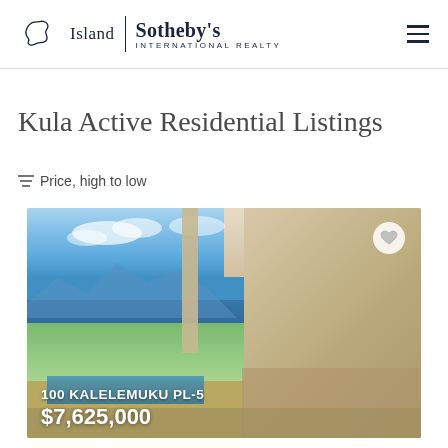[Figure (logo): Island Sotheby's International Realty logo with Hawaii island outline icon]
Kula Active Residential Listings
Price, high to low
[Figure (photo): Luxury home porch/lanai with ocean and mountain views, pool visible, outdoor furniture. Property listing photo for 100 Kalelemuku Pl-5]
100 KALELEMUKU PL-5
$7,625,000